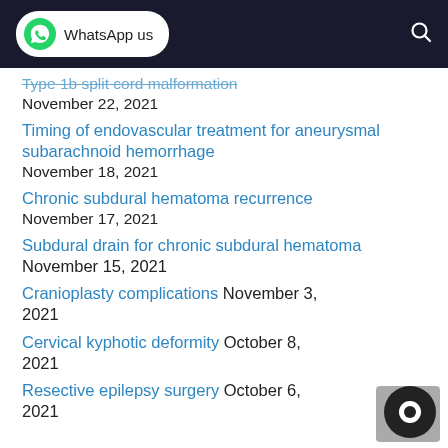WhatsApp us
Type 1b split cord malformation November 22, 2021
Timing of endovascular treatment for aneurysmal subarachnoid hemorrhage November 18, 2021
Chronic subdural hematoma recurrence November 17, 2021
Subdural drain for chronic subdural hematoma November 15, 2021
Cranioplasty complications November 3, 2021
Cervical kyphotic deformity October 8, 2021
Resective epilepsy surgery October 6, 2021